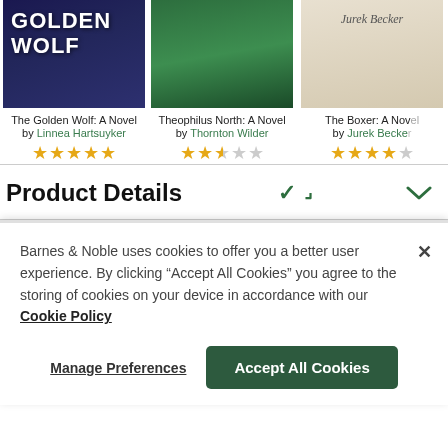[Figure (screenshot): Book covers row: The Golden Wolf (dark blue fantasy cover), Theophilus North (green illustrated cover), The Boxer (cream/beige cover, partially cropped)]
The Golden Wolf: A Novel by Linnea Hartsuyker ★★★★★
Theophilus North: A Novel by Thornton Wilder ★★★☆☆
The Boxer: A Novel by Jurek Becker ★★★★☆
Product Details
Barnes & Noble uses cookies to offer you a better user experience. By clicking "Accept All Cookies" you agree to the storing of cookies on your device in accordance with our Cookie Policy